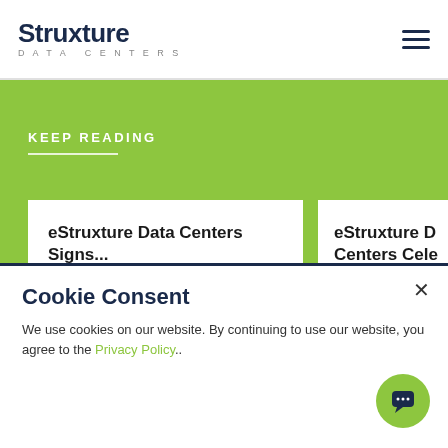eStruxture DATA CENTERS
KEEP READING
eStruxture Data Centers Signs...
August 03, 2022
eStruxture D Centers Cele
July 14, 2022
Cookie Consent
We use cookies on our website. By continuing to use our website, you agree to the Privacy Policy..